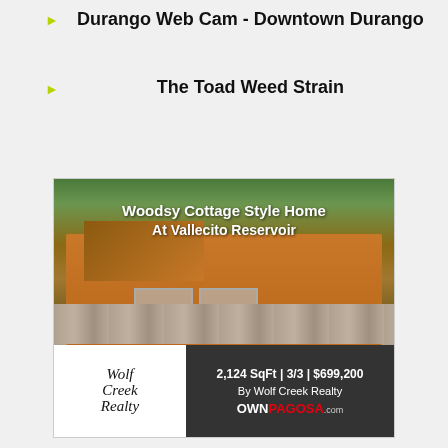Durango Web Cam - Downtown Durango
The Toad Weed Strain
[Figure (photo): Advertisement for Wolf Creek Realty showing a woodsy cottage style home at Vallecito Reservoir. Text: Woodsy Cottage Style Home At Vallecito Reservoir. 2,124 SqFt | 3/3 | $699,200. By Wolf Creek Realty. OWNPAGOSA.com]